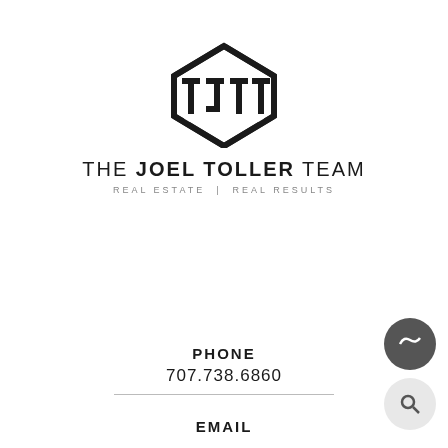[Figure (logo): TJTT logo — stylized house/hexagon shape with letters T J T T inside, in black]
THE JOEL TOLLER TEAM
REAL ESTATE | REAL RESULTS
PHONE
707.738.6860
EMAIL